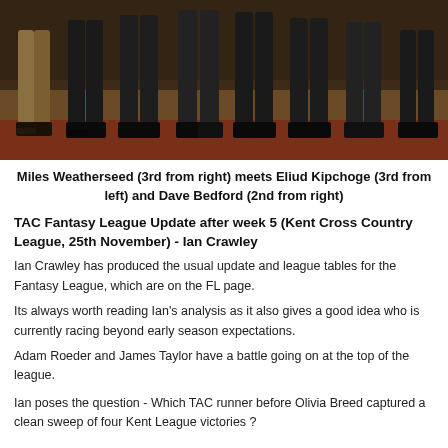[Figure (photo): Group photo showing legs and feet of several people standing together in a formal setting with dark flooring and warm background.]
Miles Weatherseed (3rd from right) meets Eliud Kipchoge (3rd from left) and Dave Bedford (2nd from right)
TAC Fantasy League Update after week 5 (Kent Cross Country League, 25th November) - Ian Crawley
Ian Crawley has produced the usual update and league tables for the Fantasy League, which are on the FL page.
Its always worth reading Ian's analysis as it also gives a good idea who is currently racing beyond early season expectations.
Adam Roeder and James Taylor have a battle going on at the top of the league.
Ian poses the question - Which TAC runner before Olivia Breed captured a clean sweep of four Kent League victories ?